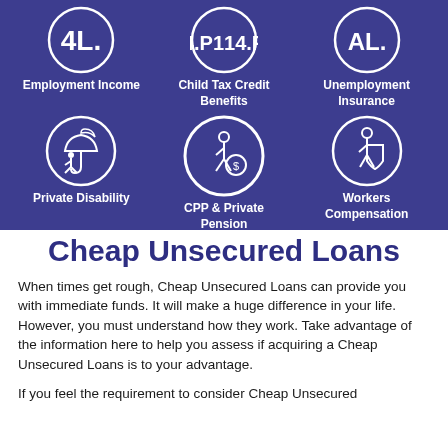[Figure (infographic): Six circular icons on dark blue background representing different income types: Employment Income, Child Tax Credit Benefits, Unemployment Insurance, Private Disability, CPP & Private Pension, Workers Compensation]
Cheap Unsecured Loans
When times get rough, Cheap Unsecured Loans can provide you with immediate funds. It will make a huge difference in your life. However, you must understand how they work. Take advantage of the information here to help you assess if acquiring a Cheap Unsecured Loans is to your advantage.
If you feel the requirement to consider Cheap Unsecured